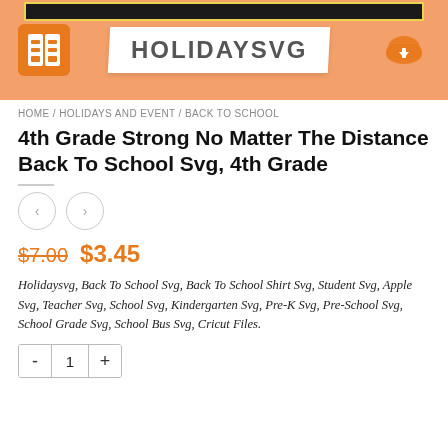[Figure (logo): HolidaySVG website banner with orange background, logo on left, HOLIDAYSVG text in center on white background, cloud download icon on right]
HOME / HOLIDAYS AND EVENT / BACK TO SCHOOL
4th Grade Strong No Matter The Distance Back To School Svg, 4th Grade
$7.00  $3.45
Holidaysvg, Back To School Svg, Back To School Shirt Svg, Student Svg, Apple Svg, Teacher Svg, School Svg, Kindergarten Svg, Pre-K Svg, Pre-School Svg, School Grade Svg, School Bus Svg, Cricut Files.
- 1 +